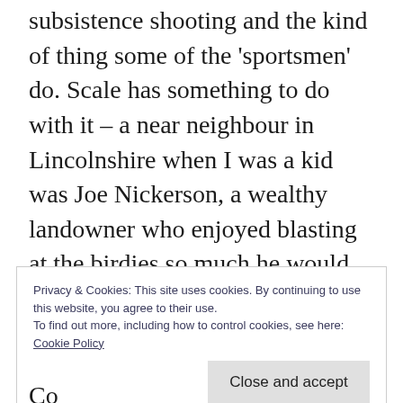subsistence shooting and the kind of thing some of the 'sportsmen' do. Scale has something to do with it – a near neighbour in Lincolnshire when I was a kid was Joe Nickerson, a wealthy landowner who enjoyed blasting at the birdies so much he would often kill a thousand brace of pheasant each year. That seemed to me to be something very different to the bloke who would catch or shoot a few rabbits from the next field to cook for his tea, though no doubt he enjoyed his chase also.
Privacy & Cookies: This site uses cookies. By continuing to use this website, you agree to their use.
To find out more, including how to control cookies, see here: Cookie Policy

[Close and accept]
Co...